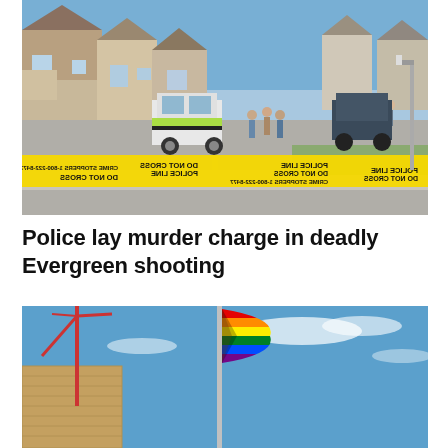[Figure (photo): Crime scene photo showing a suburban street cordoned off with yellow police tape reading 'POLICE LINE DO NOT CROSS' and 'CRIME STOPPERS 1-800-222-8477'. A police vehicle with green/yellow markings is visible, along with several people standing in the background amid residential houses.]
Police lay murder charge in deadly Evergreen shooting
[Figure (photo): Photo of a rainbow Pride flag flying on a flagpole against a blue sky with wispy clouds. A brick building and construction crane are partially visible on the left side.]